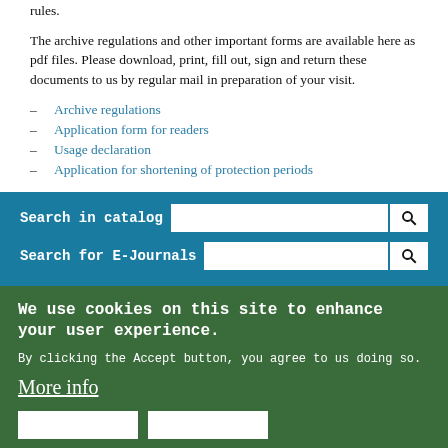rules.
The archive regulations and other important forms are available here as pdf files. Please download, print, fill out, sign and return these documents to us by regular mail in preparation of your visit.
Archive regulations
Application form for readers
Usage declaration
Application for shortening of protection periods
Search in catalog [input field]
Search for E-Journals [input field]
We use cookies on this site to enhance your user experience.
By clicking the Accept button, you agree to us doing so.
More info